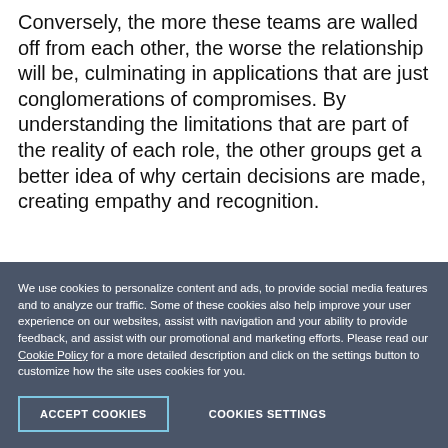Conversely, the more these teams are walled off from each other, the worse the relationship will be, culminating in applications that are just conglomerations of compromises. By understanding the limitations that are part of the reality of each role, the other groups get a better idea of why certain decisions are made, creating empathy and recognition.
We use cookies to personalize content and ads, to provide social media features and to analyze our traffic. Some of these cookies also help improve your user experience on our websites, assist with navigation and your ability to provide feedback, and assist with our promotional and marketing efforts. Please read our Cookie Policy for a more detailed description and click on the settings button to customize how the site uses cookies for you.
ACCEPT COOKIES
COOKIES SETTINGS